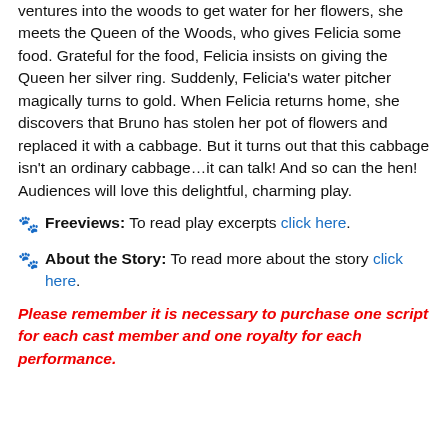ventures into the woods to get water for her flowers, she meets the Queen of the Woods, who gives Felicia some food. Grateful for the food, Felicia insists on giving the Queen her silver ring. Suddenly, Felicia's water pitcher magically turns to gold. When Felicia returns home, she discovers that Bruno has stolen her pot of flowers and replaced it with a cabbage. But it turns out that this cabbage isn't an ordinary cabbage…it can talk! And so can the hen! Audiences will love this delightful, charming play.
Freeviews: To read play excerpts click here.
About the Story: To read more about the story click here.
Please remember it is necessary to purchase one script for each cast member and one royalty for each performance.